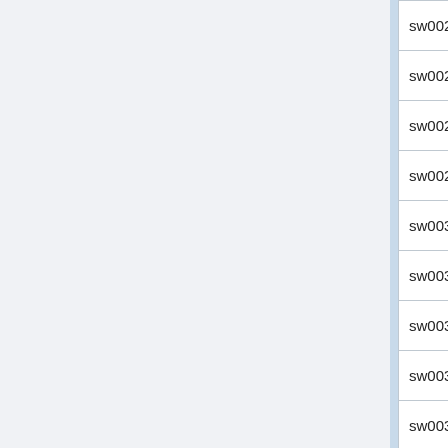| Name | CPU | Freq | Cores | ... |
| --- | --- | --- | --- | --- |
| sw0026 | Xeon X5675 | 3.07GHz | 12 | 2 |
| sw0027 | Xeon X5675 | 3.07GHz | 12 | 2 |
| sw0028 | Xeon X5675 | 3.07GHz | 12 | 2 |
| sw0029 | Xeon X5675 | 3.07GHz | 12 | 2 |
| sw0030 | Xeon X5675 | 3.07GHz | 12 | 2 |
| sw0031 | Xeon X5675 | 3.07GHz | 12 | 2 |
| sw0032 | Xeon X5675 | 3.07GHz | 12 | 2 |
| sw0033 | Xeon X5675 | 3.07GHz | 12 | 2 |
| sw0034 | Xeon X5675 | 3.07GHz | 12 | 2 |